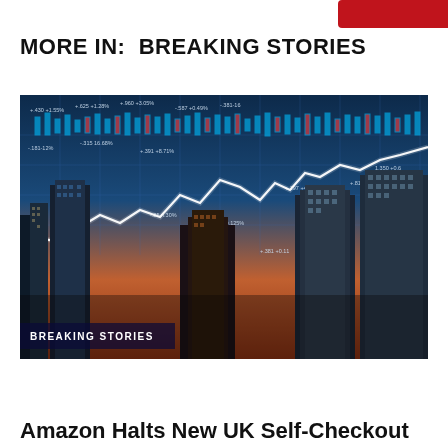MORE IN:  BREAKING STORIES
[Figure (photo): Financial stock market chart overlaid on city skyline with tall glass skyscrapers against a sunset sky. The stock chart shows candlestick data and a rising white line chart. A dark overlay banner reads BREAKING STORIES.]
Amazon Halts New UK Self-Checkout